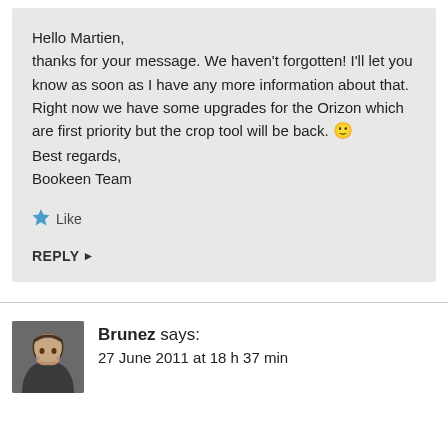Hello Martien,
thanks for your message. We haven't forgotten! I'll let you know as soon as I have any more information about that. Right now we have some upgrades for the Orizon which are first priority but the crop tool will be back. 🙂
Best regards,
Bookeen Team
Like
REPLY ▸
Brunez says:
27 June 2011 at 18 h 37 min